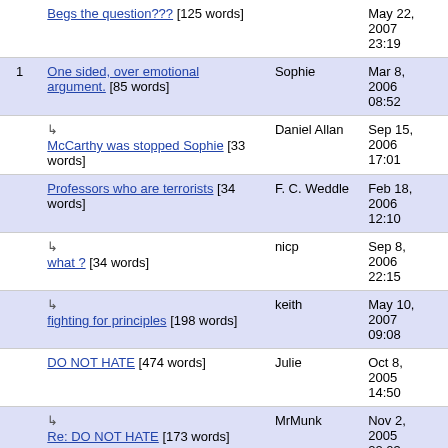| # | Title | Author | Date |
| --- | --- | --- | --- |
|  | Begs the question??? [125 words] | Giuseppe B... | May 22, 2007 23:19 |
| 1 | One sided, over emotional argument. [85 words] | Sophie | Mar 8, 2006 08:52 |
|  | ↳ McCarthy was stopped Sophie [33 words] | Daniel Allan | Sep 15, 2006 17:01 |
|  | Professors who are terrorists [34 words] | F. C. Weddle | Feb 18, 2006 12:10 |
|  | ↳ what ? [34 words] | nicp | Sep 8, 2006 22:15 |
|  | ↳ fighting for principles [198 words] | keith | May 10, 2007 09:08 |
|  | DO NOT HATE [474 words] | Julie | Oct 8, 2005 14:50 |
|  | ↳ Re: DO NOT HATE [173 words] | MrMunk | Nov 2, 2005 22:03 |
|  | ↳ Re: Do Not Hate [448 words] | Jeanne | Apr 10, 2006 |